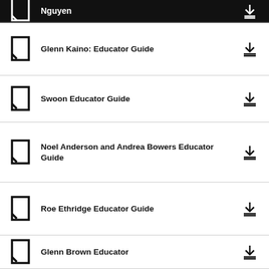Nguyen
Glenn Kaino: Educator Guide
Swoon Educator Guide
Noel Anderson and Andrea Bowers Educator Guide
Roe Ethridge Educator Guide
Glenn Brown Educator